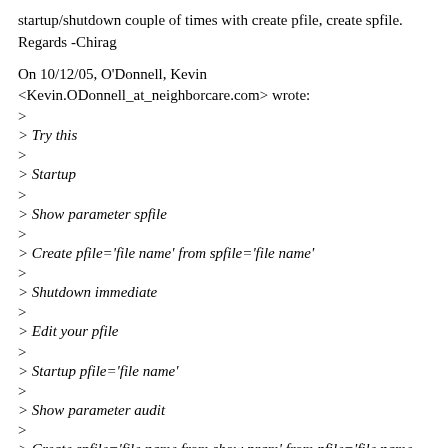startup/shutdown couple of times with create pfile, create spfile.
Regards -Chirag
On 10/12/05, O'Donnell, Kevin <Kevin.ODonnell_at_neighborcare.com> wrote:
>
> Try this
>
> Startup
>
> Show parameter spfile
>
> Create pfile='file name' from spfile='file name'
>
> Shutdown immediate
>
> Edit your pfile
>
> Startup pfile='file name'
>
> Show parameter audit
>
> Create spfile='file name from show pram' from pfile='file name that you
> used for startup'